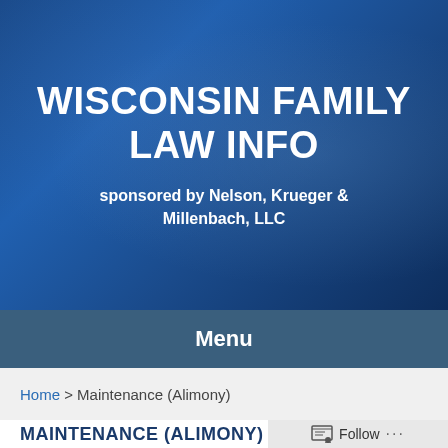WISCONSIN FAMILY LAW INFO
sponsored by Nelson, Krueger & Millenbach, LLC
Menu
Home > Maintenance (Alimony)
MAINTENANCE (ALIMONY)